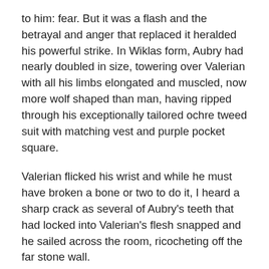to him: fear. But it was a flash and the betrayal and anger that replaced it heralded his powerful strike. In Wiklas form, Aubry had nearly doubled in size, towering over Valerian with all his limbs elongated and muscled, now more wolf shaped than man, having ripped through his exceptionally tailored ochre tweed suit with matching vest and purple pocket square.
Valerian flicked his wrist and while he must have broken a bone or two to do it, I heard a sharp crack as several of Aubry's teeth that had locked into Valerian's flesh snapped and he sailed across the room, ricocheting off the far stone wall.
I couldn't help but let out a sigh but my relief was short-lived as Valerian turned back toward me. It was obvious Aubry's attack was just a distraction; he was still bent on